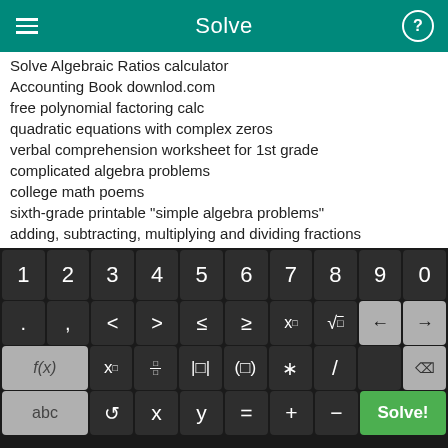Solve
Solve Algebraic Ratios calculator
Accounting Book downlod.com
free polynomial factoring calc
quadratic equations with complex zeros
verbal comprehension worksheet for 1st grade
complicated algebra problems
college math poems
sixth-grade printable "simple algebra problems"
adding, subtracting, multiplying and dividing fractions
learn algebra online free
[Figure (screenshot): On-screen math keyboard with number row (1-9,0), symbol row (. , < > ≤ ≥ x^□ √□ ← →), function row (f(x) x□ □/□ |□| (□) * / [delete]), and bottom row (abc ↺ x y = + − Solve!)]